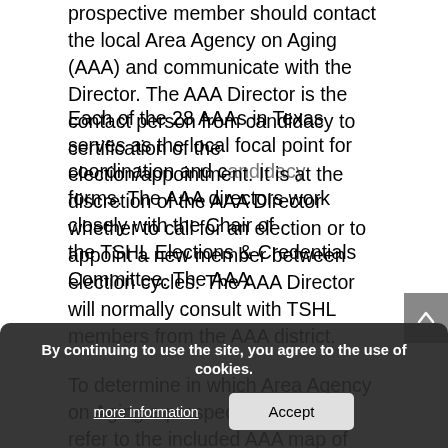prospective member should contact the local Area Agency on Aging (AAA) and communicate with the Director. The AAA Director is the contact person from candidacy to certification of the election/appointment. It is at the discretion of the AAA Director whether to call for an election or to appoint a new member between election cycles. The AAA Director will normally consult with TSHL members from the AAA district.
To determine in which Area Agency on Aging a prospect lives, please refer to the included AAA map of Texas and determine the associated name and number of the AAA. Then, see the list of AAAs to find the contact information for each.
Each of the 28 AAAs in Texas serves as the local focal point for coordination and c... candidacy forms. The AAA directors work closely with the Chair of the TSHL Elections & Credentials Committee. The AAA